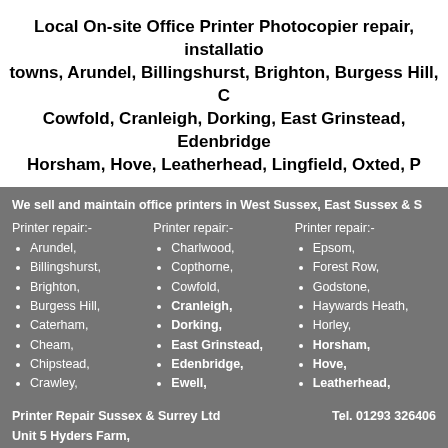Local On-site Office Printer Photocopier repair, installation towns, Arundel, Billingshurst, Brighton, Burgess Hill, Cowfold, Cranleigh, Dorking, East Grinstead, Edenbridge, Horsham, Hove, Leatherhead, Lingfield, Oxted, P
We sell and maintain office printers in West Sussex, East Sussex & S
Printer repair:- Arundel,
Billingshurst,
Brighton,
Burgess Hill,
Caterham,
Cheam,
Chipstead,
Crawley,
Printer repair:- Charlwood,
Copthorne,
Cowfold,
Cranleigh,
Dorking,
East Grinstead,
Edenbridge,
Ewell,
Printer repair:- Epsom,
Forest Row,
Godstone,
Haywards Heath,
Horley,
Horsham,
Hove,
Leatherhead,
Printer Repair Sussex & Surrey Ltd
Unit 5 Hyders Farm,
Bonnetts Lane,
Crawwley,
RH11 0NY
Tel. 01293 326406

Director S Boczek